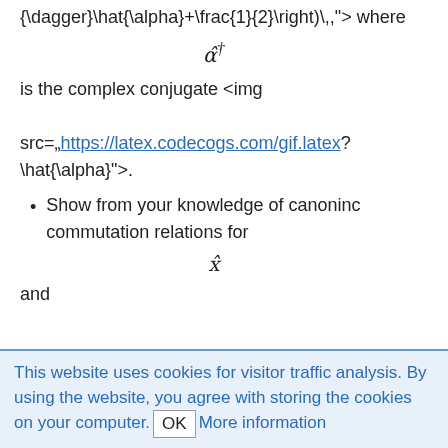{\dagger}\hat{\alpha}+\frac{1}{2}\right)\,,"> where
is the complex conjugate <img src=","https://latex.codecogs.com/gif.latex?\hat{\alpha}">.
Show from your knowledge of canoninc commutation relations for
and
This website uses cookies for visitor traffic analysis. By using the website, you agree with storing the cookies on your computer. OK More information